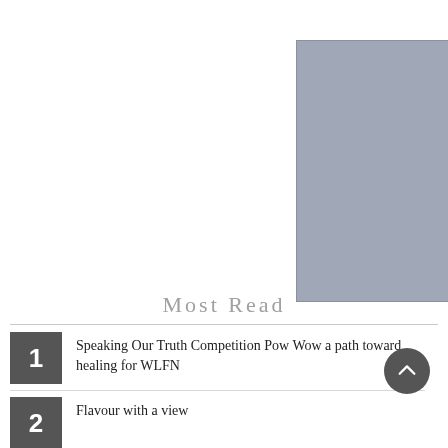[Figure (photo): Gray placeholder image rectangle]
Most Read
1 Speaking Our Truth Competition Pow Wow a path toward healing for WLFN
2 Flavour with a view